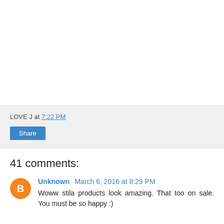LOVE J at 7:22 PM
Share
41 comments:
Unknown March 6, 2016 at 8:29 PM
Woww stila products look amazing. That too on sale. You must be so happy :)